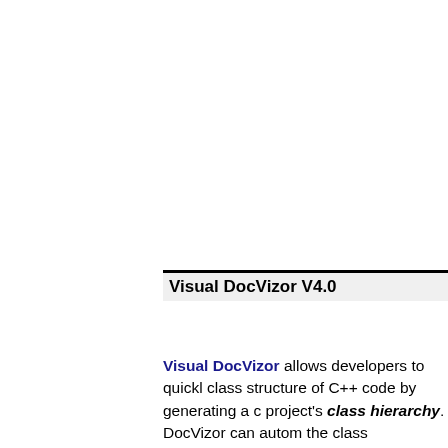Visual DocVizor V4.0
Visual DocVizor allows developers to quickly understand the class structure of C++ code by generating a complete view of a project's class hierarchy. DocVizor can automatically extract the class information, and even generate a whole lot more for you . Produce class-level documentation by exporting diagrams for each individual class as a graphics file.